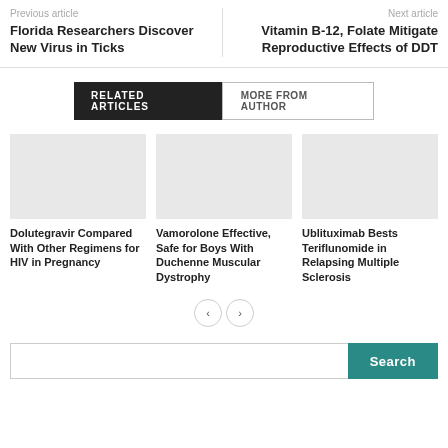Previous article
Florida Researchers Discover New Virus in Ticks
Next article
Vitamin B-12, Folate Mitigate Reproductive Effects of DDT
RELATED ARTICLES
MORE FROM AUTHOR
Dolutegravir Compared With Other Regimens for HIV in Pregnancy
Vamorolone Effective, Safe for Boys With Duchenne Muscular Dystrophy
Ublituximab Bests Teriflunomide in Relapsing Multiple Sclerosis